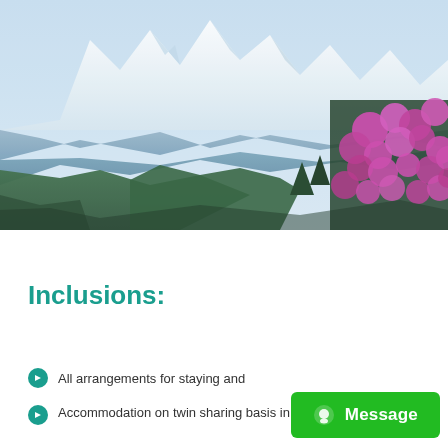[Figure (photo): Himalayan mountain landscape with snow-capped peaks, layered blue-haze ridges, pine forest slopes, and bright pink rhododendron flowers in the right foreground under a clear sky.]
Inclusions:
All arrangements for staying and
Accommodation on twin sharing basis in tents / hotel